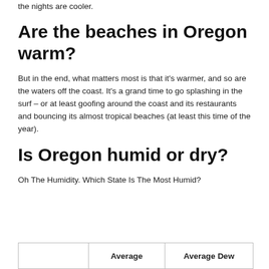the nights are cooler.
Are the beaches in Oregon warm?
But in the end, what matters most is that it's warmer, and so are the waters off the coast. It's a grand time to go splashing in the surf – or at least goofing around the coast and its restaurants and bouncing its almost tropical beaches (at least this time of the year).
Is Oregon humid or dry?
Oh The Humidity. Which State Is The Most Humid?
|  | Average | Average Dew |
| --- | --- | --- |